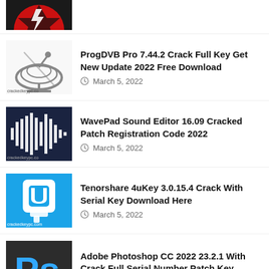[Figure (logo): Partial red/black logo at top of page]
ProgDVB Pro 7.44.2 Crack Full Key Get New Update 2022 Free Download — March 5, 2022
WavePad Sound Editor 16.09 Cracked Patch Registration Code 2022 — March 5, 2022
Tenorshare 4uKey 3.0.15.4 Crack With Serial Key Download Here — March 5, 2022
Adobe Photoshop CC 2022 23.2.1 With Crack Full Serial Number Patch Key